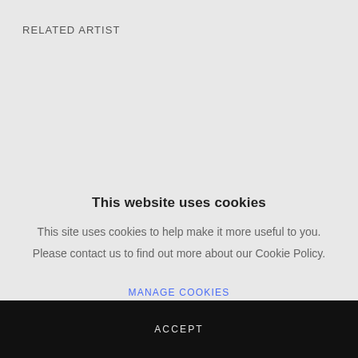RELATED ARTIST
[Figure (screenshot): Blurred artist thumbnail and name placeholder in a 'Related Artist' section of a music website, partially obscured by cookie consent overlay]
This website uses cookies
This site uses cookies to help make it more useful to you.
Please contact us to find out more about our Cookie Policy.
MANAGE COOKIES
ACCEPT